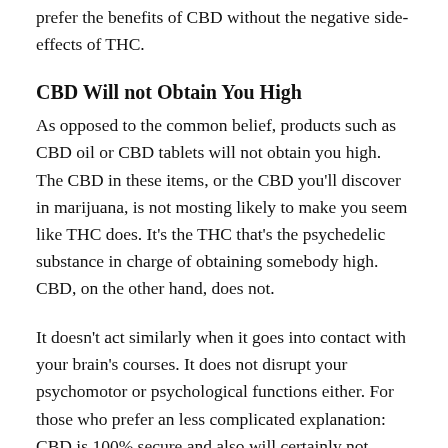prefer the benefits of CBD without the negative side-effects of THC.
CBD Will not Obtain You High
As opposed to the common belief, products such as CBD oil or CBD tablets will not obtain you high. The CBD in these items, or the CBD you'll discover in marijuana, is not mosting likely to make you seem like THC does. It's the THC that's the psychedelic substance in charge of obtaining somebody high. CBD, on the other hand, does not.
It doesn't act similarly when it goes into contact with your brain's courses. It does not disrupt your psychomotor or psychological functions either. For those who prefer an less complicated explanation: CBD is 100% secure and also will certainly not obtain you high! It won't even show